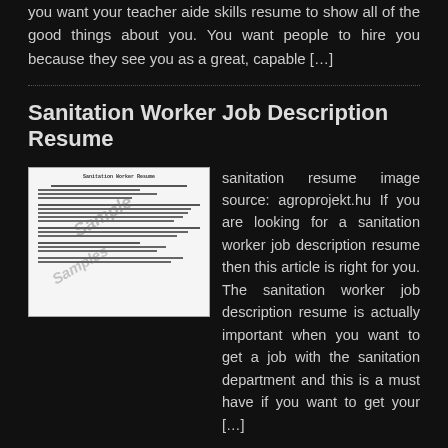you want your teacher aide skills resume to show all of the good things about you. You want people to hire you because they see you as a great, capable […]
Sanitation Worker Job Description Resume
[Figure (photo): A thumbnail image of a Sanitation Worker Resume document with a 'Sample' watermark overlaid diagonally.]
sanitation resume image source: agroprojekt.hu If you are looking for a sanitation worker job description resume then this article is right for you. The sanitation worker job description resume is actually important when you want to get a job with the sanitation department and this is a must have if you want to get your […]